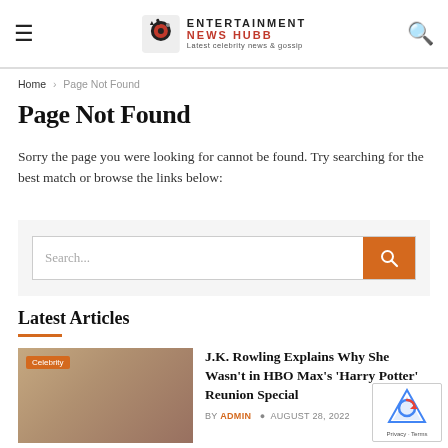Entertainment News Hubb — Latest celebrity news & gossip
Home > Page Not Found
Page Not Found
Sorry the page you were looking for cannot be found. Try searching for the best match or browse the links below:
[Figure (screenshot): Search bar with orange search button]
Latest Articles
[Figure (photo): Photo of J.K. Rowling with Celebrity badge]
J.K. Rowling Explains Why She Wasn't in HBO Max's 'Harry Potter' Reunion Special
BY ADMIN  AUGUST 28, 2022